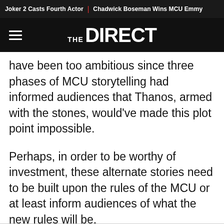Joker 2 Casts Fourth Actor | Chadwick Boseman Wins MCU Emmy
[Figure (logo): The Direct logo on black navigation bar with hamburger menu]
have been too ambitious since three phases of MCU storytelling had informed audiences that Thanos, armed with the stones, would've made this plot point impossible.
Perhaps, in order to be worthy of investment, these alternate stories need to be built upon the rules of the MCU or at least inform audiences of what the new rules will be.
All Season 1 episodes of What If...? are streaming on Disney+.